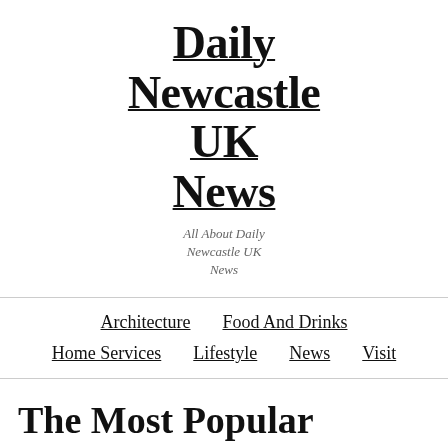Daily Newcastle UK News
All About Daily Newcastle UK News
Architecture  Food And Drinks  Home Services  Lifestyle  News  Visit
The Most Popular Espresso